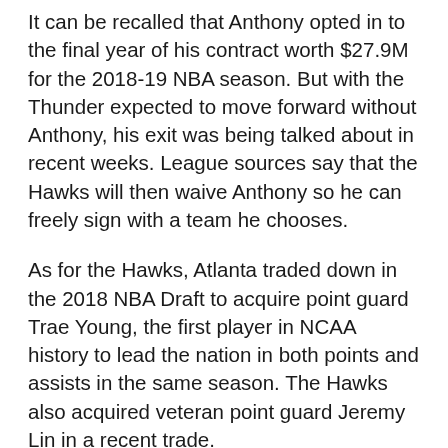It can be recalled that Anthony opted in to the final year of his contract worth $27.9M for the 2018-19 NBA season. But with the Thunder expected to move forward without Anthony, his exit was being talked about in recent weeks. League sources say that the Hawks will then waive Anthony so he can freely sign with a team he chooses.
As for the Hawks, Atlanta traded down in the 2018 NBA Draft to acquire point guard Trae Young, the first player in NCAA history to lead the nation in both points and assists in the same season. The Hawks also acquired veteran point guard Jeremy Lin in a recent trade.
With Young and Lin in Town, it was academic that Schroeder would get booted out sooner or later. The Hawks are undergoing a massive facelift and obviously Schroeder isn't part of their future. Schroeder also hinted after last season that he wanted to play elsewhere so it's probably good riddance for the Hawks.